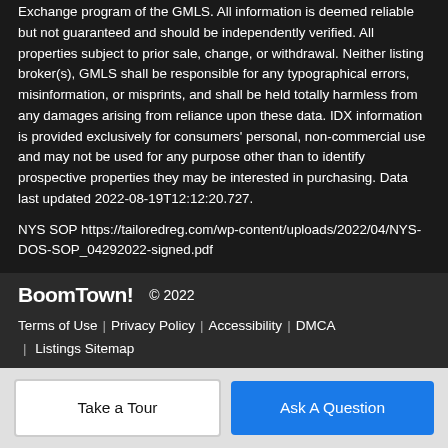Exchange program of the GMLS. All information is deemed reliable but not guaranteed and should be independently verified. All properties subject to prior sale, change, or withdrawal. Neither listing broker(s), GMLS shall be responsible for any typographical errors, misinformation, or misprints, and shall be held totally harmless from any damages arising from reliance upon these data. IDX information is provided exclusively for consumers' personal, non-commercial use and may not be used for any purpose other than to identify prospective properties they may be interested in purchasing. Data last updated 2022-08-19T12:12:20.727.
NYS SOP https://tailoredreg.com/wp-content/uploads/2022/04/NYS-DOS-SOP_04292022-signed.pdf
BoomTown! © 2022
Terms of Use | Privacy Policy | Accessibility | DMCA | Listings Sitemap
Take a Tour
Ask A Question